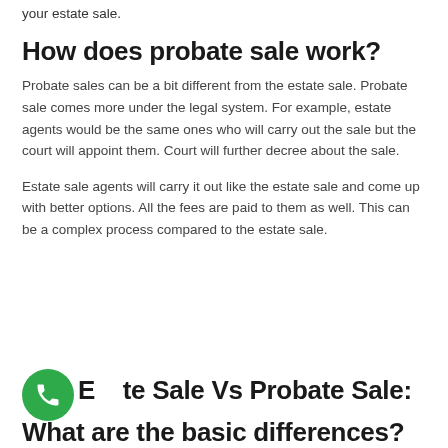your estate sale.
How does probate sale work?
Probate sales can be a bit different from the estate sale. Probate sale comes more under the legal system. For example, estate agents would be the same ones who will carry out the sale but the court will appoint them. Court will further decree about the sale.
Estate sale agents will carry it out like the estate sale and come up with better options. All the fees are paid to them as well. This can be a complex process compared to the estate sale.
Estate Sale Vs Probate Sale: What are the basic differences?